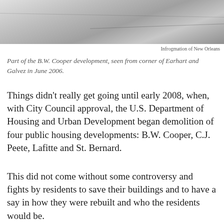[Figure (photo): Photograph of the B.W. Cooper development exterior, showing concrete or pavement surfaces with faint lines, taken from corner of Earhart and Galvez in June 2006.]
Infrogmation of New Orleans
Part of the B.W. Cooper development, seen from corner of Earhart and Galvez in June 2006.
Things didn't really get going until early 2008, when, with City Council approval, the U.S. Department of Housing and Urban Development began demolition of four public housing developments: B.W. Cooper, C.J. Peete, Lafitte and St. Bernard.
This did not come without some controversy and fights by residents to save their buildings and to have a say in how they were rebuilt and who the residents would be.